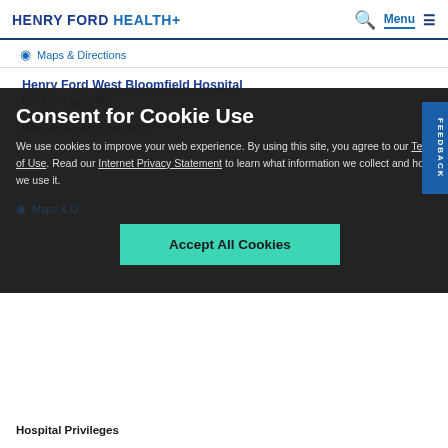HENRY FORD HEALTH+
Maps & Directions
Henry Ford West Bloomfield Hospital
6777 W Maple Rd
Cardiology
West Bloomfield, MI 48322
Consent for Cookie Use
We use cookies to improve your web experience. By using this site, you agree to our Terms of Use. Read our Internet Privacy Statement to learn what information we collect and how we use it.
Accept All Cookies
Maps & Directions
Hospital Privileges